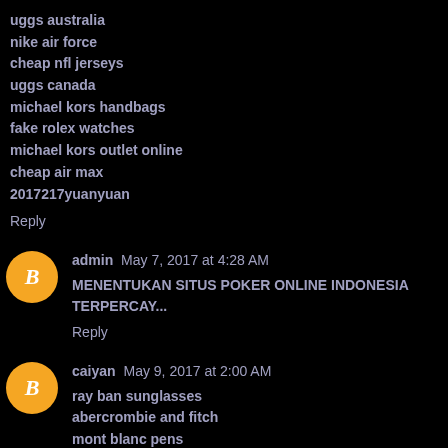uggs australia
nike air force
cheap nfl jerseys
uggs canada
michael kors handbags
fake rolex watches
michael kors outlet online
cheap air max
2017217yuanyuan
Reply
admin May 7, 2017 at 4:28 AM
MENENTUKAN SITUS POKER ONLINE INDONESIA TERPERCAY...
Reply
caiyan May 9, 2017 at 2:00 AM
ray ban sunglasses
abercrombie and fitch
mont blanc pens
oakley sunglasses outlet
james harden shoes
ralph lauren uk
cheap ray ban sunglasses
golden state warriors jerseys
michael kors outlet